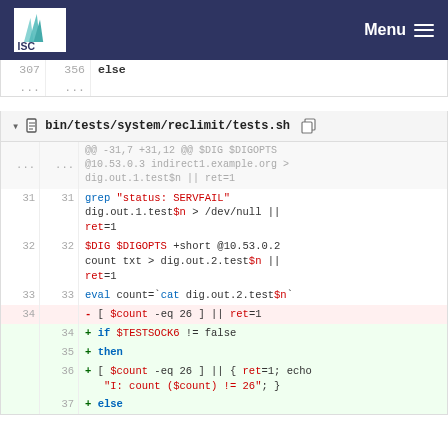ISC — Menu
[Figure (screenshot): Code diff viewer showing changes to bin/tests/system/reclimit/tests.sh with line numbers, added and removed lines highlighted in green and red respectively]
bin/tests/system/reclimit/tests.sh
@@ -31,7 +31,12 @@ $DIG $DIGOPTS @10.53.0.3 indirect1.example.org > dig.out.1.test$n || ret=1
31  31  grep "status: SERVFAIL" dig.out.1.test$n > /dev/null || ret=1
32  32  $DIG $DIGOPTS +short @10.53.0.2 count txt > dig.out.2.test$n || ret=1
33  33  eval count=`cat dig.out.2.test$n`
34      - [ $count -eq 26 ] || ret=1
34  + if $TESTSOCK6 != false
35  + then
36  +   [ $count -eq 26 ] || { ret=1; echo "I: count ($count) != 26"; }
37  + else